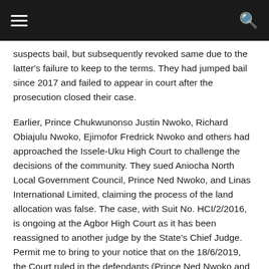[navigation header with hamburger menu and search icon]
suspects bail, but subsequently revoked same due to the latter's failure to keep to the terms. They had jumped bail since 2017 and failed to appear in court after the prosecution closed their case.
Earlier, Prince Chukwunonso Justin Nwoko, Richard Obiajulu Nwoko, Ejimofor Fredrick Nwoko and others had approached the Issele-Uku High Court to challenge the decisions of the community. They sued Aniocha North Local Government Council, Prince Ned Nwoko, and Linas International Limited, claiming the process of the land allocation was false. The case, with Suit No. HCI/2/2016, is ongoing at the Agbor High Court as it has been reassigned to another judge by the State's Chief Judge. Permit me to bring to your notice that on the 18/6/2019, the Court ruled in the defendants (Prince Ned Nwoko and Linas International Limited) favour and awarded